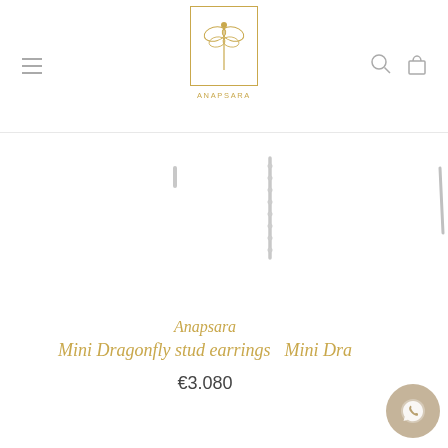[Figure (logo): Anapsara logo: a dragonfly inside a gold-bordered rectangle, with ANAPSARA text below in gold spaced capitals]
[Figure (photo): Jewelry product images: thin diamond/crystal earrings shown partially, cropped]
Anapsara
Mini Dragonfly stud earrings    Mini Dra…
€3.080
[Figure (other): WhatsApp contact button (gold/beige circular icon)]